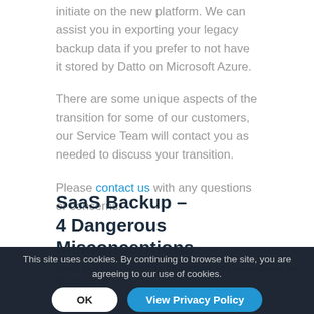initiate on the new platform. We can assist you in exporting your legacy backup data if you prefer to not have it stored by Datto on Microsoft Azure.
There are some unique aspects of the transition for some of our customers, our Service Team will contact you as needed to discuss your transition.
Please contact us with any questions or concerns.
SaaS Backup – 4 Dangerous Misconceptions
January 4, 2021
This site uses cookies. By continuing to browse the site, you are agreeing to our use of cookies.
SaaS Backup is just as important and necessary, as backups for your other servers and systems.